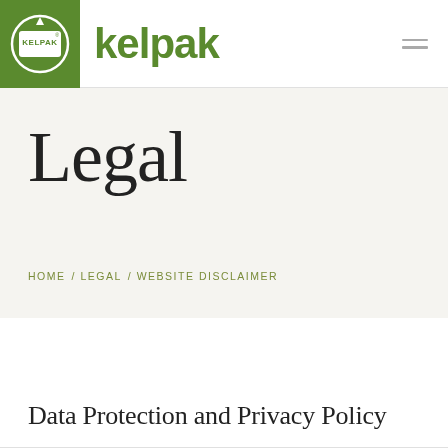[Figure (logo): Kelpak logo: green square with circular arrow and KELPAK text badge, followed by 'kelpak' text in green]
Legal
HOME / LEGAL / WEBSITE DISCLAIMER
Data Protection and Privacy Policy